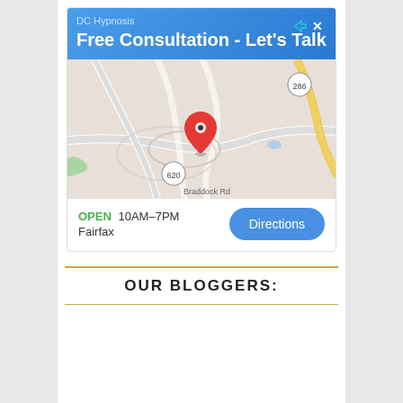[Figure (screenshot): Google Maps advertisement for DC Hypnosis showing a map with a location pin, open hours 10AM-7PM, city Fairfax, and a Directions button. Ad header is blue with text 'DC Hypnosis' and 'Free Consultation - Let's Talk'.]
OUR BLOGGERS: